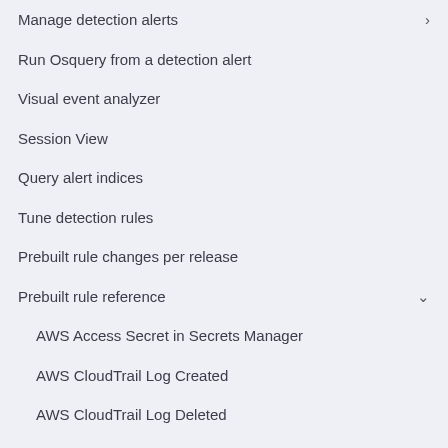Manage detection alerts
Run Osquery from a detection alert
Visual event analyzer
Session View
Query alert indices
Tune detection rules
Prebuilt rule changes per release
Prebuilt rule reference
AWS Access Secret in Secrets Manager
AWS CloudTrail Log Created
AWS CloudTrail Log Deleted
AWS CloudTrail Log Suspended
AWS CloudTrail Log Updated